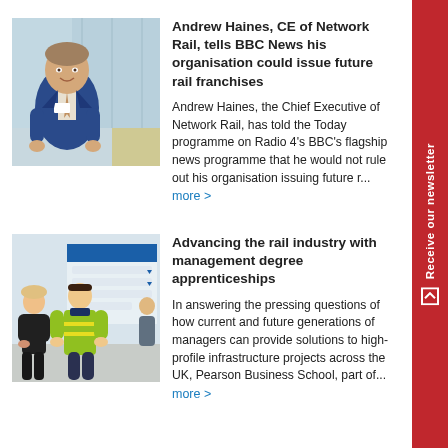[Figure (photo): Portrait photo of Andrew Haines, a man in a blue suit sitting indoors with glass walls in background]
Andrew Haines, CE of Network Rail, tells BBC News his organisation could issue future rail franchises
Andrew Haines, the Chief Executive of Network Rail, has told the Today programme on Radio 4's BBC's flagship news programme that he would not rule out his organisation issuing future r... more >
[Figure (photo): Photo of a rail station with a worker in hi-vis jacket talking to passengers near a signage board]
Advancing the rail industry with management degree apprenticeships
In answering the pressing questions of how current and future generations of managers can provide solutions to high-profile infrastructure projects across the UK, Pearson Business School, part of... more >